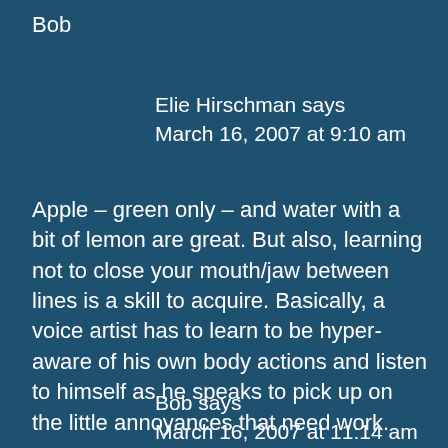Bob
Elie Hirschman says
March 16, 2007 at 9:10 am
Apple – green only – and water with a bit of lemon are great. But also, learning not to close your mouth/jaw between lines is a skill to acquire. Basically, a voice artist has to learn to be hyper-aware of his own body actions and listen to himself as he speaks to pick up on the little annoyances that need work.
Bob says
March 16, 2007 at 11:14 am